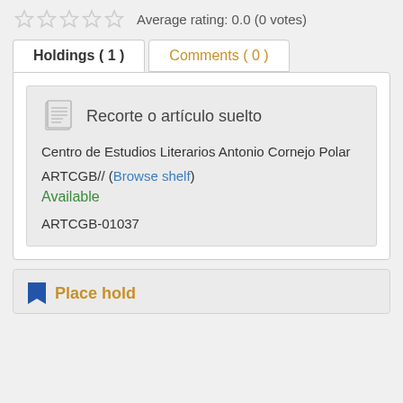Average rating: 0.0 (0 votes)
Holdings ( 1 )
Comments ( 0 )
Recorte o artículo suelto
Centro de Estudios Literarios Antonio Cornejo Polar
ARTCGB// (Browse shelf)
Available
ARTCGB-01037
Place hold